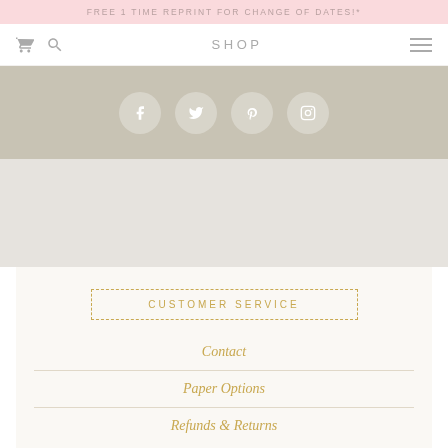FREE 1 TIME REPRINT FOR CHANGE OF DATES!*
[Figure (screenshot): Navigation bar with cart icon, search icon, SHOP text, and hamburger menu icon]
[Figure (infographic): Social media icons row: Facebook, Twitter, Pinterest, Instagram — white icons in semi-transparent circles on taupe/beige background]
CUSTOMER SERVICE
Contact
Paper Options
Refunds & Returns